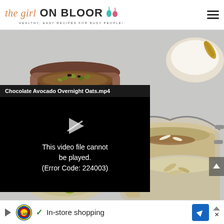[Figure (logo): The Girl on Bloor logo with cursive and bold text, tagline 'HEALTHY, EASY RECIPES FOR BUSY PEOPLE!', pear icons in teal and red]
[Figure (photo): Food photography showing glass mason jars with chocolate avocado overnight oats topped with pistachios and coconut, bowls of oats ingredients]
[Figure (screenshot): Video player overlay with title 'Chocolate Avocado Overnight Oats.mp4' and error message 'This video file cannot be played. (Error Code: 224003)']
[Figure (screenshot): Advertisement bar for Lidl showing 'In-store shopping' with Lidl logo, checkmark, and navigation arrow]